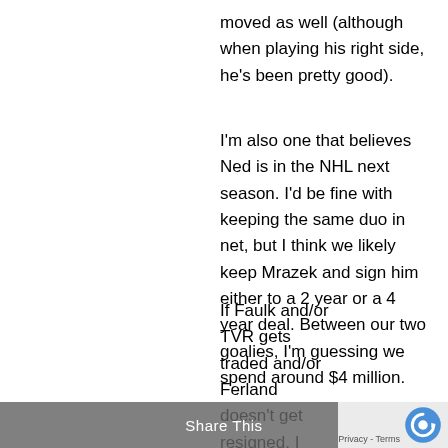moved as well (although when playing his right side, he's been pretty good).
I'm also one that believes Ned is in the NHL next season. I'd be fine with keeping the same duo in net, but I think we likely keep Mrazek and sign him either to a 2 year or a 4 year deal. Between our two goalies, I'm guessing we spend around $4 million.
If Faulk and/or TVR gets traded and/or Ferland doesn't get resigned, I think the front office would spend up to $6 million (but probably won't have to) to add one more scoring threat. Maybe you pick up a 2C/3C and move Wallmark down to the...
Share This